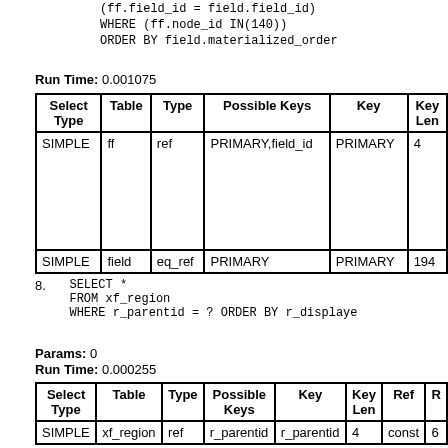(ff.field_id = field.field_id)
    WHERE (ff.node_id IN(140))
    ORDER BY field.materialized_order
Run Time: 0.001075
| Select Type | Table | Type | Possible Keys | Key | Key Len |
| --- | --- | --- | --- | --- | --- |
| SIMPLE | ff | ref | PRIMARY,field_id | PRIMARY | 4 |
| SIMPLE | field | eq_ref | PRIMARY | PRIMARY | 194 |
8.   SELECT *
     FROM xf_region
     WHERE r_parentid = ? ORDER BY r_displaye
Params: 0
Run Time: 0.000255
| Select Type | Table | Type | Possible Keys | Key | Key Len | Ref | R |
| --- | --- | --- | --- | --- | --- | --- | --- |
| SIMPLE | xf_region | ref | r_parentid | r_parentid | 4 | const | 6 |